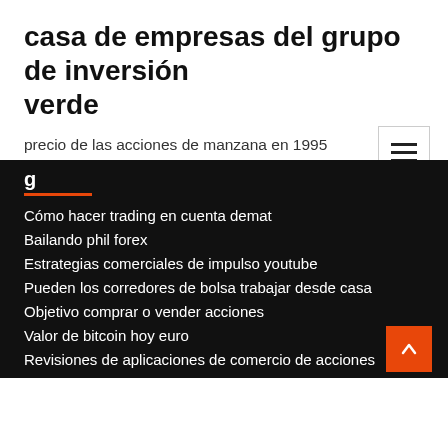casa de empresas del grupo de inversión verde
precio de las acciones de manzana en 1995
Cómo hacer trading en cuenta demat
Bailando phil forex
Estrategias comerciales de impulso youtube
Pueden los corredores de bolsa trabajar desde casa
Objetivo comprar o vender acciones
Valor de bitcoin hoy euro
Revisiones de aplicaciones de comercio de acciones